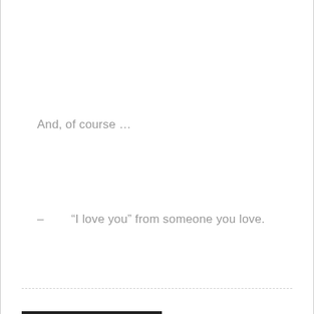And, of course …
– “I love you” from someone you love.